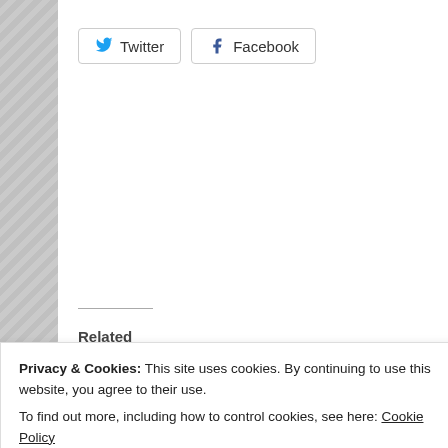Twitter
Facebook
Related
In His Keeping-For His Time
August 3, 2022
In "Awareness"
More Room for Jes
December 23, 2018
In "Control"
Two Important Questions
November 27, 2017
In "Challenges"
Privacy & Cookies: This site uses cookies. By continuing to use this website, you agree to their use.
To find out more, including how to control cookies, see here: Cookie Policy
Close and accept
2 THOUGHTS ON "CHOOSING WHAT CONTROLS ME"